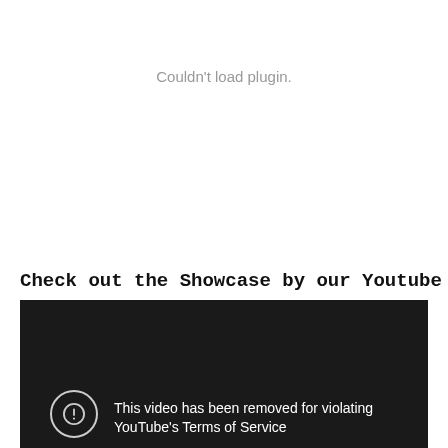Couldn't load plugin.
Check out the Showcase by our Youtube Partner
[Figure (screenshot): Dark video player showing an error message: 'This video has been removed for violating YouTube's Terms of Service' with a circle exclamation icon on the left.]